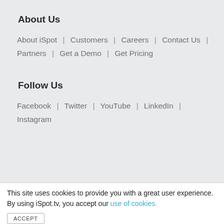About Us
About iSpot | Customers | Careers | Contact Us | Partners | Get a Demo | Get Pricing
Follow Us
Facebook | Twitter | YouTube | LinkedIn | Instagram
This site uses cookies to provide you with a great user experience. By using iSpot.tv, you accept our use of cookies.